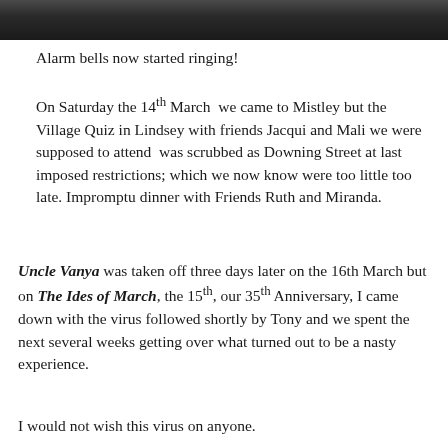[Figure (photo): Dark photographic image strip at the top of the page, showing a dark textured surface or landscape scene.]
Alarm bells now started ringing!
On Saturday the 14th March  we came to Mistley but the Village Quiz in Lindsey with friends Jacqui and Mali we were supposed to attend  was scrubbed as Downing Street at last imposed restrictions; which we now know were too little too late. Impromptu dinner with Friends Ruth and Miranda.
Uncle Vanya was taken off three days later on the 16th March but on The Ides of March, the 15th, our 35th Anniversary, I came down with the virus followed shortly by Tony and we spent the next several weeks getting over what turned out to be a nasty experience.
I would not wish this virus on anyone.